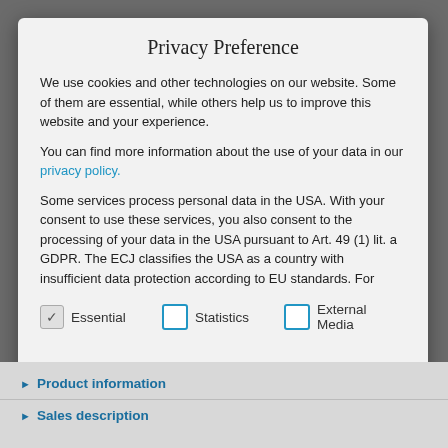Privacy Preference
We use cookies and other technologies on our website. Some of them are essential, while others help us to improve this website and your experience.
You can find more information about the use of your data in our privacy policy.
Some services process personal data in the USA. With your consent to use these services, you also consent to the processing of your data in the USA pursuant to Art. 49 (1) lit. a GDPR. The ECJ classifies the USA as a country with insufficient data protection according to EU standards. For example, there is a risk that U.S. authorities will process personal data in surveillance programs without any existing possibility
Essential (checked)
Statistics (unchecked)
External Media (unchecked)
Accept all
Product information
Sales description